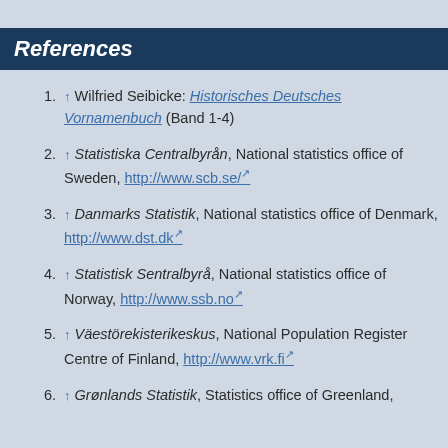References
↑ Wilfried Seibicke: Historisches Deutsches Vornamenbuch (Band 1-4)
↑ Statistiska Centralbyrån, National statistics office of Sweden, http://www.scb.se/
↑ Danmarks Statistik, National statistics office of Denmark, http://www.dst.dk
↑ Statistisk Sentralbyrå, National statistics office of Norway, http://www.ssb.no
↑ Väestörekisterikeskus, National Population Register Centre of Finland, http://www.vrk.fi
↑ Grønlands Statistik, Statistics office of Greenland,